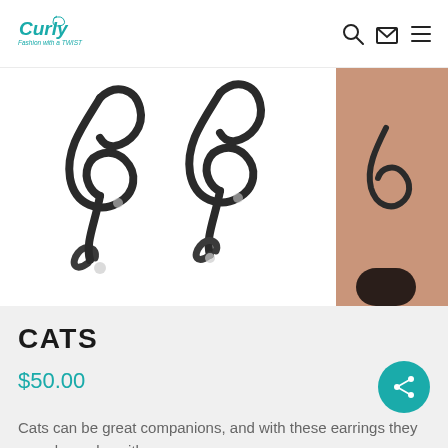Curly — Fashion with a Twist
[Figure (photo): Close-up product photo of decorative metallic curly/swirl cat-shaped earrings on white background, with a second thumbnail image of the earrings worn on an ear (skin-toned background)]
CATS
$50.00
Cats can be great companions, and with these earrings they can always be with